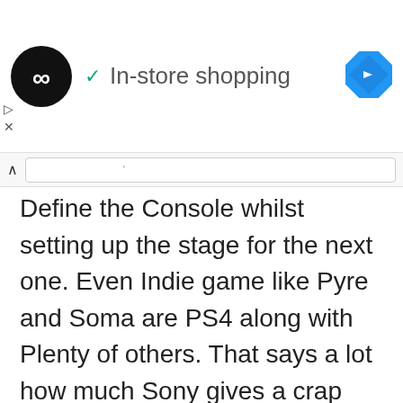[Figure (screenshot): Ad banner showing a circular black logo with arrows, a green checkmark, text 'In-store shopping', and a blue navigation diamond icon on the right]
Define the Console whilst setting up the stage for the next one. Even Indie game like Pyre and Soma are PS4 along with Plenty of others. That says a lot how much Sony gives a crap about Gamers. Playstation Really is for the Players. What do you think of these upcoming titles, tell us in the comments below?
Also Read: How to Put a Password on a PS4 Account